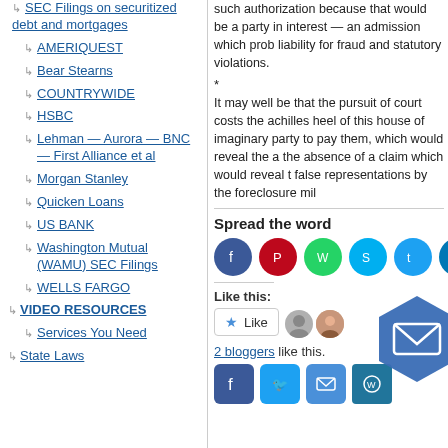SEC Filings on securitized debt and mortgages
AMERIQUEST
Bear Stearns
COUNTRYWIDE
HSBC
Lehman — Aurora — BNC — First Alliance et al
Morgan Stanley
Quicken Loans
US BANK
Washington Mutual (WAMU) SEC Filings
WELLS FARGO
VIDEO RESOURCES
Services You Need
State Laws
such authorization because that would be a party in interest — an admission which prob liability for fraud and statutory violations.
*
It may well be that the pursuit of court costs the achilles heel of this house of imaginary party to pay them, which would reveal the a the absence of a claim which would reveal t false representations by the foreclosure mil
Spread the word
2 bloggers like this.
Filed under: CORRUPTION, discours...